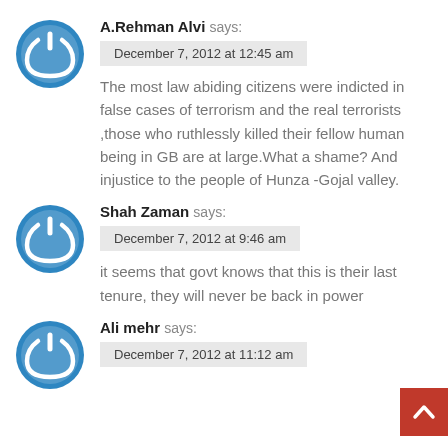A.Rehman Alvi says:
December 7, 2012 at 12:45 am
The most law abiding citizens were indicted in false cases of terrorism and the real terrorists ,those who ruthlessly killed their fellow human being in GB are at large.What a shame? And injustice to the people of Hunza -Gojal valley.
Shah Zaman says:
December 7, 2012 at 9:46 am
it seems that govt knows that this is their last tenure, they will never be back in power
Ali mehr says:
December 7, 2012 at 11:12 am